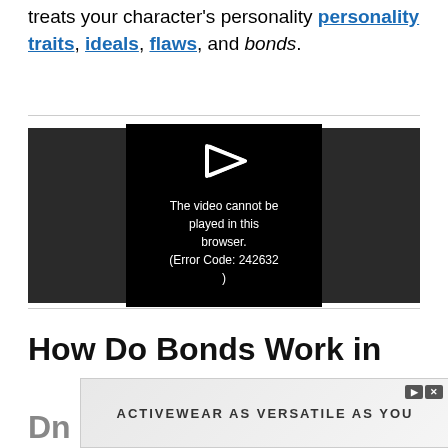treats your character's personality traits, ideals, flaws, and bonds.
[Figure (screenshot): Video player showing error message: The video cannot be played in this browser. (Error Code: 242632)]
How Do Bonds Work in Dn
[Figure (infographic): Advertisement banner reading ACTIVEWEAR AS VERSATILE AS YOU with play and close icons]